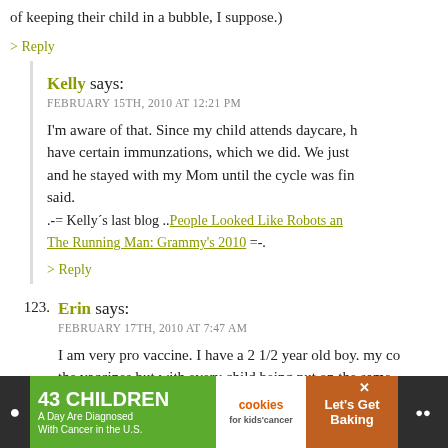of keeping their child in a bubble, I suppose.)
> Reply
Kelly says:
FEBRUARY 15TH, 2010 AT 12:21 PM
I'm aware of that. Since my child attends daycare, have certain immunzations, which we did. We just and he stayed with my Mom until the cycle was fin said.
.-= Kelly's last blog ..People Looked Like Robots and The Running Man: Grammy's 2010 =-.
> Reply
123. Erin says:
FEBRUARY 17TH, 2010 AT 7:47 AM
I am very pro vaccine. I have a 2 1/2 year old boy. my co the vaccines but with every child being put on the same
[Figure (infographic): Advertisement banner: '43 CHILDREN A Day Are Diagnosed With Cancer in the U.S.' with cookies for kids cancer and Let's Get Baking logos]